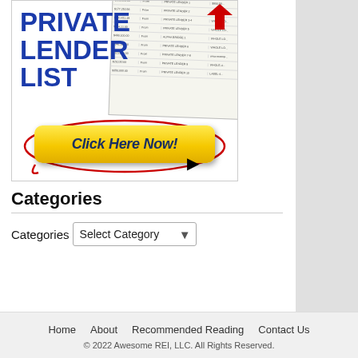[Figure (illustration): Advertisement banner for 'Private Lender List' with bold blue text on the left reading 'PRIVATE LENDER LIST', a spreadsheet image on the right with a red arrow pointing at data, and a large yellow button at the bottom reading 'Click Here Now!' with a red oval drawn around it and a mouse cursor icon.]
Categories
Categories  Select Category
Home  About  Recommended Reading  Contact Us
© 2022 Awesome REI, LLC. All Rights Reserved.